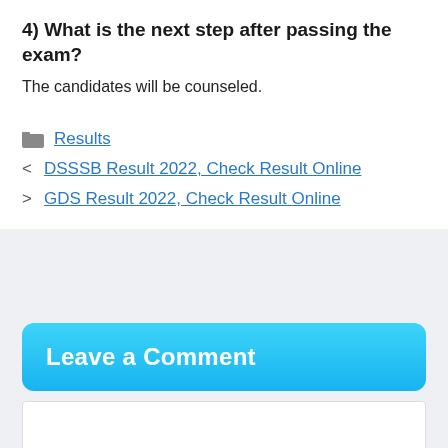4) What is the next step after passing the exam?
The candidates will be counseled.
Results
DSSSB Result 2022, Check Result Online
GDS Result 2022, Check Result Online
Leave a Comment